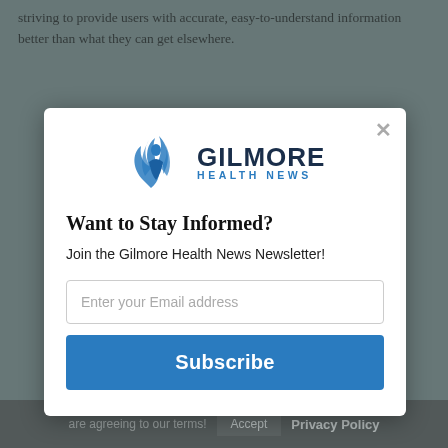striving to provide users with accurate, easy-to-understand information better than what they can get elsewhere.
[Figure (logo): Gilmore Health News logo with blue flame/person icon and text GILMORE HEALTH NEWS]
Want to Stay Informed?
Join the Gilmore Health News Newsletter!
Enter your Email address
Subscribe
refer to the Gilmore Health Privacy Policy. By entering our site you are agreeing to our terms!
Accept   Privacy Policy